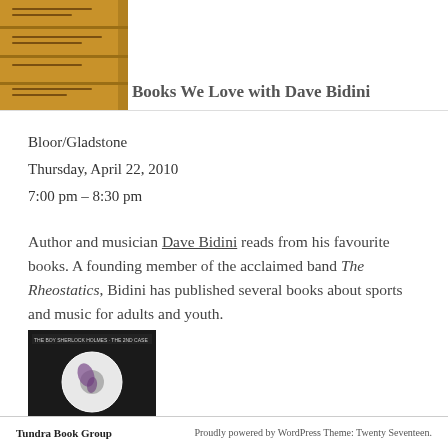[Figure (photo): Stack of yellow/orange books shown from the spine side]
Books We Love with Dave Bidini
Bloor/Gladstone
Thursday, April 22, 2010
7:00 pm – 8:30 pm
Author and musician Dave Bidini reads from his favourite books. A founding member of the acclaimed band The Rheostatics, Bidini has published several books about sports and music for adults and youth.
[Figure (photo): Dark book cover with circular white disc image and text at top]
Tundra Book Group    Proudly powered by WordPress Theme: Twenty Seventeen.